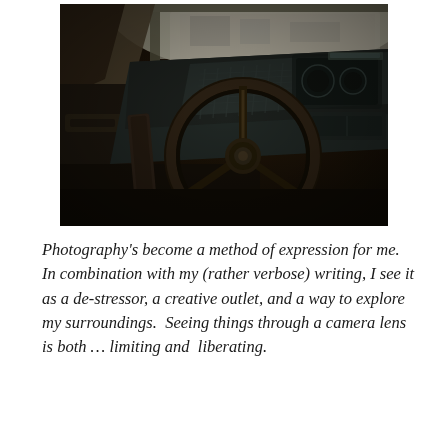[Figure (photo): Interior of a vintage car showing the steering wheel and dashboard. The image is taken from the driver's side, showing a large black steering wheel, a detailed instrument panel/dashboard, and the car's interior. The image has a film-photo aesthetic with warm, slightly desaturated tones and soft focus.]
Photography's become a method of expression for me.  In combination with my (rather verbose) writing, I see it as a de-stressor, a creative outlet, and a way to explore my surroundings.  Seeing things through a camera lens is both … limiting and  liberating.